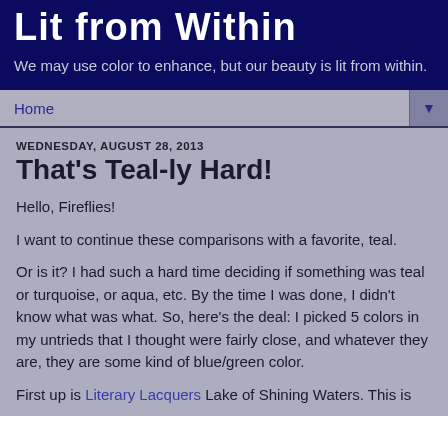Lit from Within
We may use color to enhance, but our beauty is lit from within.
Home
WEDNESDAY, AUGUST 28, 2013
That's Teal-ly Hard!
Hello, Fireflies!
I want to continue these comparisons with a favorite, teal.
Or is it?  I had such a hard time deciding if something was teal or turquoise, or aqua, etc.  By the time I was done, I didn't know what was what.  So, here's the deal:  I picked 5 colors in my untrieds that I thought were fairly close, and whatever they are, they are some kind of blue/green color.
First up is Literary Lacquers Lake of Shining Waters.  This is